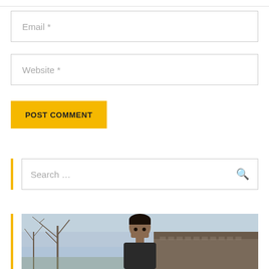Email *
Website *
POST COMMENT
Search ...
[Figure (photo): A photograph showing a young man standing outdoors. Behind him are bare winter trees on the left, a rooftop/building on the right, and an overcast sky.]